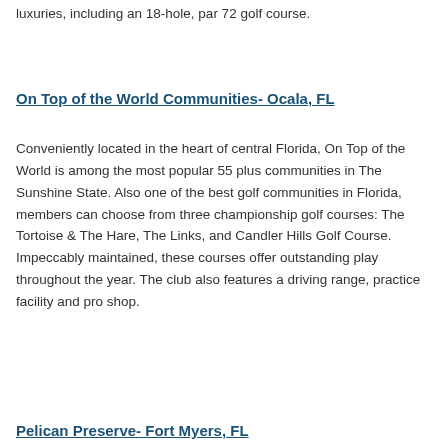luxuries, including an 18-hole, par 72 golf course.
On Top of the World Communities- Ocala, FL
Conveniently located in the heart of central Florida, On Top of the World is among the most popular 55 plus communities in The Sunshine State. Also one of the best golf communities in Florida, members can choose from three championship golf courses: The Tortoise & The Hare, The Links, and Candler Hills Golf Course. Impeccably maintained, these courses offer outstanding play throughout the year. The club also features a driving range, practice facility and pro shop.
Pelican Preserve- Fort Myers, FL